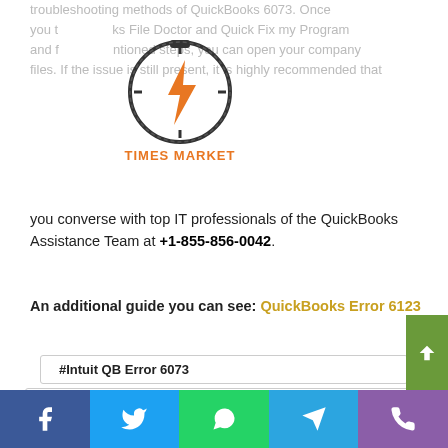[Figure (logo): Times Market logo - circular speedometer/clock with lightning bolt, orange text TIMES MARKET below]
troubleshooting methods of QuickBooks 6073. Once you try QuickBooks File Doctor and Quick Fix my Program and follow the mentioned steps, you can open your company files. If the issue is still present, it is highly recommended that you converse with top IT professionals of the QuickBooks Assistance Team at +1-855-856-0042.
An additional guide you can see: QuickBooks Error 6123
#Intuit QB Error 6073
#QuickBooks company file access Error 6073
#QuickBooks Enterprise Error 6073
#QuickBooks Error message 6073
Social share buttons: Facebook, Twitter, WhatsApp, Telegram, Phone